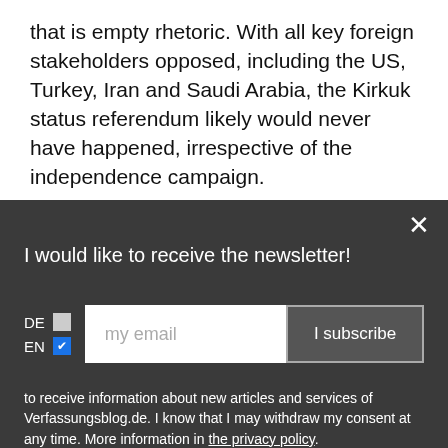that is empty rhetoric. With all key foreign stakeholders opposed, including the US, Turkey, Iran and Saudi Arabia, the Kirkuk status referendum likely would never have happened, irrespective of the independence campaign.
If we take constitutional self-determination seriously,
[Figure (screenshot): Newsletter subscription overlay on dark gray background. Contains close (X) button, title 'I would like to receive the newsletter!', language checkboxes for DE (unchecked) and EN (checked in blue), an email input field with placeholder 'my email', a subscribe button labeled 'I subscribe', and consent text mentioning Verfassungsblog.de and a privacy policy link.]